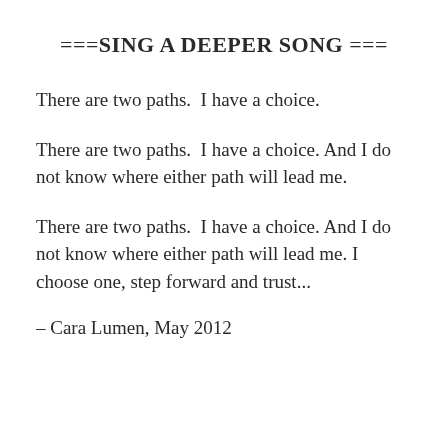===SING A DEEPER SONG ===
There are two paths.  I have a choice.
There are two paths.  I have a choice. And I do not know where either path will lead me.
There are two paths.  I have a choice. And I do not know where either path will lead me. I choose one, step forward and trust...
– Cara Lumen, May 2012